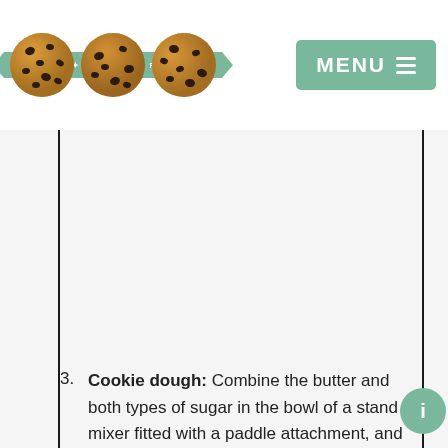[Figure (logo): Family Cookie Recipes logo with three chocolate chip cookie circles and a teal banner ribbon reading FAMILY COOKIE RECIPES]
[Figure (illustration): Teal MENU button with hamburger menu icon (three horizontal lines)]
[Figure (other): Advertisement placeholder area with light gray background inside vertical border lines]
Cookie dough: Combine the butter and both types of sugar in the bowl of a stand mixer fitted with a paddle attachment, and cream together on medium-high for 2 to 3 minutes. Scrape down the sides of the bowl, then add